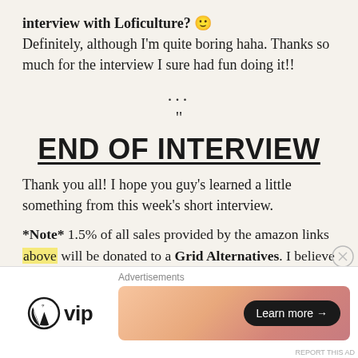interview with Loficulture? 🙂 Definitely, although I'm quite boring haha. Thanks so much for the interview I sure had fun doing it!!
...
“
END OF INTERVIEW
Thank you all! I hope you guy’s learned a little something from this week’s short interview.
*Note* 1.5% of all sales provided by the amazon links above will be donated to a Grid Alternatives. I believe that the sun can be the source for music
[Figure (other): Advertisement banner with WordPress VIP logo and a gradient banner with Learn more button]